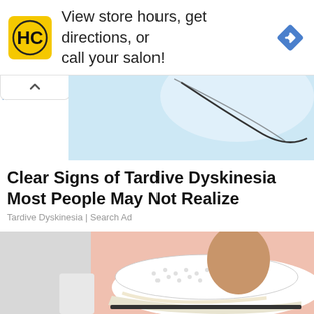[Figure (screenshot): Advertisement banner with yellow HC logo, text 'View store hours, get directions, or call your salon!' and blue navigation diamond icon]
[Figure (photo): Partial top image showing light blue background with a dark curved shape, partially cropped]
Clear Signs of Tardive Dyskinesia Most People May Not Realize
Tardive Dyskinesia | Search Ad
[Figure (photo): Close-up photo of a person's feet wearing white perforated slip-on sneakers with brown/tan accents and pearl trim, with white jeans, on a pink background]